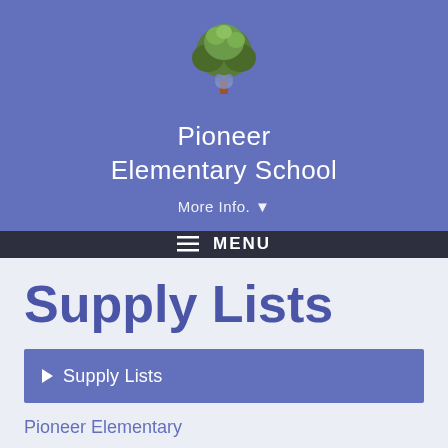[Figure (logo): Pioneer Elementary School tree logo with bear mascot]
Pioneer Elementary School
More Info. ▾
≡ MENU
Supply Lists
▶ Supply Lists
Pioneer Elementary